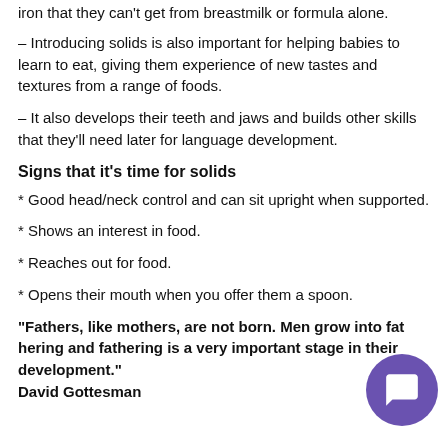iron that they can't get from breastmilk or formula alone.
– Introducing solids is also important for helping babies to learn to eat, giving them experience of new tastes and textures from a range of foods.
– It also develops their teeth and jaws and builds other skills that they'll need later for language development.
Signs that it's time for solids
* Good head/neck control and can sit upright when supported.
* Shows an interest in food.
* Reaches out for food.
* Opens their mouth when you offer them a spoon.
"Fathers, like mothers, are not born. Men grow into fathering and fathering is a very important stage in their development."
David Gottesman